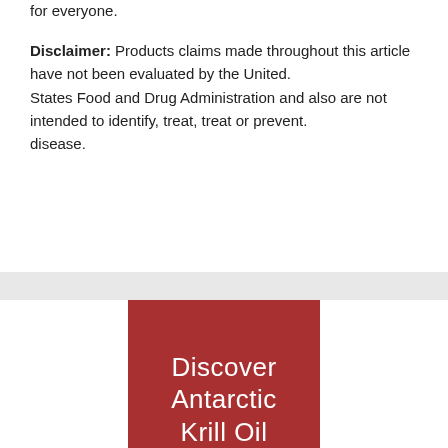for everyone.
Disclaimer: Products claims made throughout this article have not been evaluated by the United. States Food and Drug Administration and also are not intended to identify, treat, treat or prevent. disease.
[Figure (illustration): Red rectangular banner with white text reading 'Discover Antarctic Krill Oil' (partially visible)]